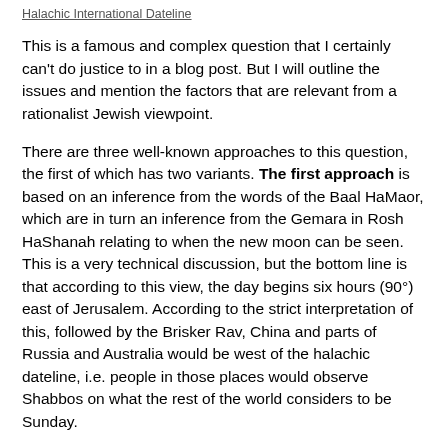Halachic International Dateline
This is a famous and complex question that I certainly can't do justice to in a blog post. But I will outline the issues and mention the factors that are relevant from a rationalist Jewish viewpoint.
There are three well-known approaches to this question, the first of which has two variants. The first approach is based on an inference from the words of the Baal HaMaor, which are in turn an inference from the Gemara in Rosh HaShanah relating to when the new moon can be seen. This is a very technical discussion, but the bottom line is that according to this view, the day begins six hours (90°) east of Jerusalem. According to the strict interpretation of this, followed by the Brisker Rav, China and parts of Russia and Australia would be west of the halachic dateline, i.e. people in those places would observe Shabbos on what the rest of the world considers to be Sunday.
A variant on this approach is that of the Chazon Ish. He considers it unreasonable for the halachic dateline to bisect a country - it would mean that your next door neighbor could